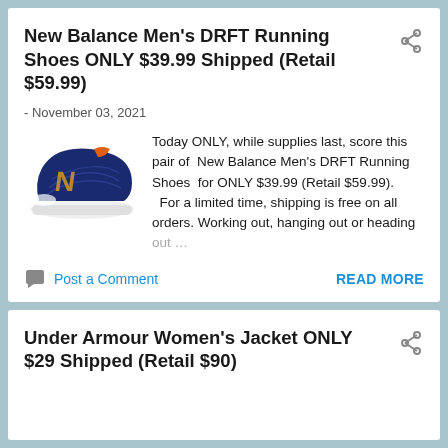New Balance Men's DRFT Running Shoes ONLY $39.99 Shipped (Retail $59.99)
- November 03, 2021
[Figure (photo): New Balance men's running shoe in navy blue with orange gold N logo and white sole]
Today ONLY, while supplies last, score this pair of  New Balance Men's DRFT Running Shoes  for ONLY $39.99 (Retail $59.99).   For a limited time, shipping is free on all orders.  Working out, hanging out or heading out …
Post a Comment
READ MORE
Under Armour Women's Jacket ONLY $29 Shipped (Retail $90)